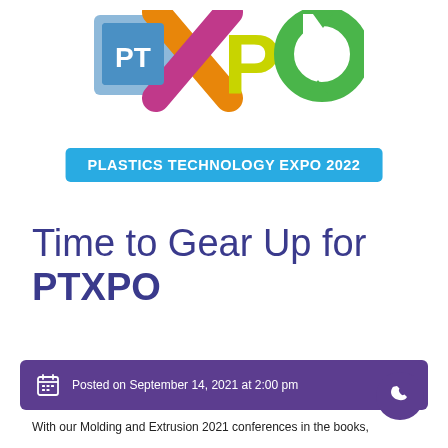[Figure (logo): PTXPO logo — Plastics Technology Expo — with 'PT' in blue square, colorful XPO letters in magenta/orange/yellow/green, and a circular arrows icon in green]
PLASTICS TECHNOLOGY EXPO 2022
Time to Gear Up for PTXPO
Posted on September 14, 2021 at 2:00 pm
With our Molding and Extrusion 2021 conferences in the books, the next Sector Review Moldina at a tone of Plastics